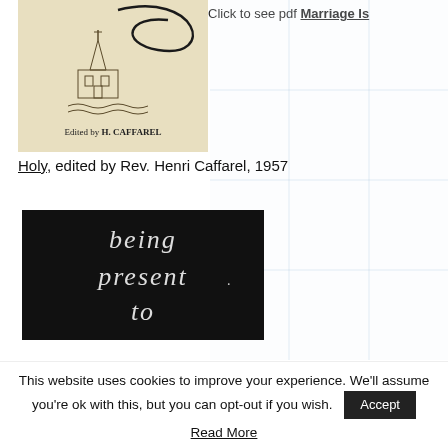Click to see pdf Marriage Is
[Figure (illustration): Book cover of 'Marriage Is Holy' edited by H. Caffarel, showing a church sketch on beige background with calligraphic text]
Holy, edited by Rev. Henri Caffarel, 1957
[Figure (illustration): Black cover with white cursive text reading 'being present to']
This website uses cookies to improve your experience. We'll assume you're ok with this, but you can opt-out if you wish.
Accept
Read More